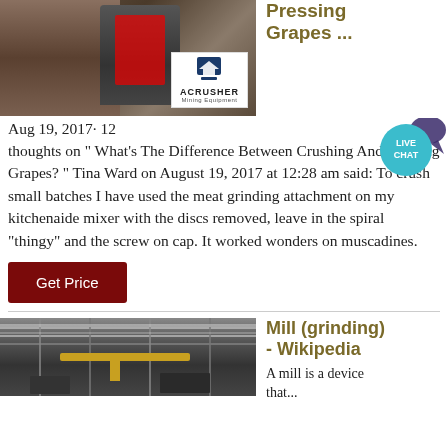[Figure (photo): A mining/crushing machine with stone wall background and ACRUSHER Mining Equipment logo overlay]
Pressing Grapes ...
Aug 19, 2017· 12 thoughts on " What's The Difference Between Crushing And Pressing Grapes? " Tina Ward on August 19, 2017 at 12:28 am said: To crush small batches I have used the meat grinding attachment on my kitchenaide mixer with the discs removed, leave in the spiral "thingy" and the screw on cap. It worked wonders on muscadines.
[Figure (other): LIVE CHAT speech bubble icon in teal]
Get Price
[Figure (photo): Interior of an industrial mill or factory with steel beams and overhead cranes]
Mill (grinding) - Wikipedia
A mill is a device that...